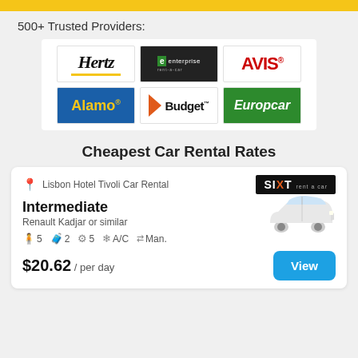500+ Trusted Providers:
[Figure (logo): Six car rental brand logos: Hertz, Enterprise, Avis (top row); Alamo, Budget, Europcar (bottom row)]
Cheapest Car Rental Rates
Lisbon Hotel Tivoli Car Rental
Intermediate
Renault Kadjar or similar
👤 5  🧳 2  ⚙ 5  A/C  Man.
$20.62 / per day